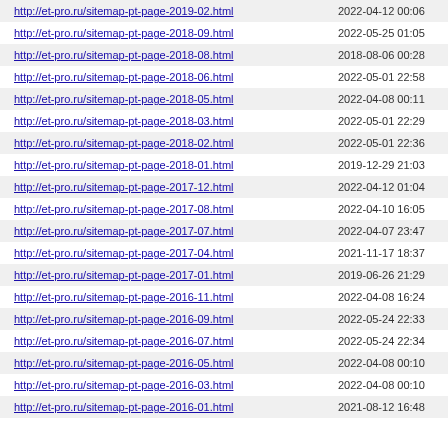| http://et-pro.ru/sitemap-pt-page-2019-02.html | 2022-04-12 00:06 |
| http://et-pro.ru/sitemap-pt-page-2018-09.html | 2022-05-25 01:05 |
| http://et-pro.ru/sitemap-pt-page-2018-08.html | 2018-08-06 00:28 |
| http://et-pro.ru/sitemap-pt-page-2018-06.html | 2022-05-01 22:58 |
| http://et-pro.ru/sitemap-pt-page-2018-05.html | 2022-04-08 00:11 |
| http://et-pro.ru/sitemap-pt-page-2018-03.html | 2022-05-01 22:29 |
| http://et-pro.ru/sitemap-pt-page-2018-02.html | 2022-05-01 22:36 |
| http://et-pro.ru/sitemap-pt-page-2018-01.html | 2019-12-29 21:03 |
| http://et-pro.ru/sitemap-pt-page-2017-12.html | 2022-04-12 01:04 |
| http://et-pro.ru/sitemap-pt-page-2017-08.html | 2022-04-10 16:05 |
| http://et-pro.ru/sitemap-pt-page-2017-07.html | 2022-04-07 23:47 |
| http://et-pro.ru/sitemap-pt-page-2017-04.html | 2021-11-17 18:37 |
| http://et-pro.ru/sitemap-pt-page-2017-01.html | 2019-06-26 21:29 |
| http://et-pro.ru/sitemap-pt-page-2016-11.html | 2022-04-08 16:24 |
| http://et-pro.ru/sitemap-pt-page-2016-09.html | 2022-05-24 22:33 |
| http://et-pro.ru/sitemap-pt-page-2016-07.html | 2022-05-24 22:34 |
| http://et-pro.ru/sitemap-pt-page-2016-05.html | 2022-04-08 00:10 |
| http://et-pro.ru/sitemap-pt-page-2016-03.html | 2022-04-08 00:10 |
| http://et-pro.ru/sitemap-pt-page-2016-01.html | 2021-08-12 16:48 |